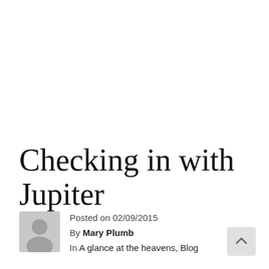Checking in with Jupiter
Posted on 02/09/2015
By Mary Plumb
In A glance at the heavens, Blog